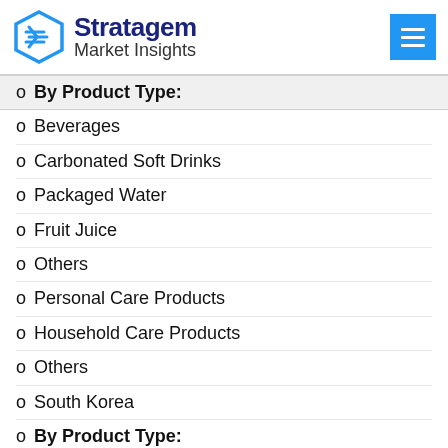Stratagem Market Insights
By Product Type:
Beverages
Carbonated Soft Drinks
Packaged Water
Fruit Juice
Others
Personal Care Products
Household Care Products
Others
South Korea
By Product Type: